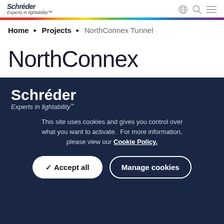Schréder – Experts in lightability™
Home ▶ Projects ▶ NorthConnex Tunnel
NorthConnex
Schréder
Experts in lightability™
This site uses cookies and gives you control over what you want to activate. For more information, please view our Cookie Policy.
✓ Accept all   Manage cookies